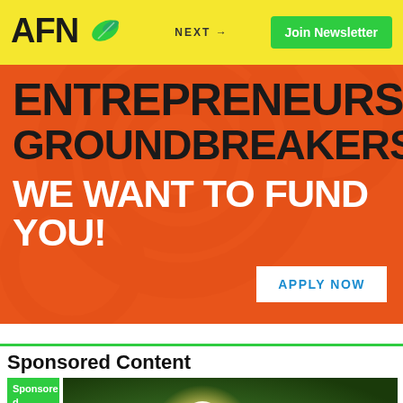AFN | NEXT → | Join Newsletter
[Figure (infographic): Orange banner with dark text reading ENTREPRENEURS GROUNDBREAKERS WE WANT TO FUND YOU! with an APPLY NOW button, on an orange background with subtle swirl pattern]
Sponsored Content
[Figure (photo): Glowing light bulb among green plants on a blurred green background, with a Sponsored badge overlay in green]